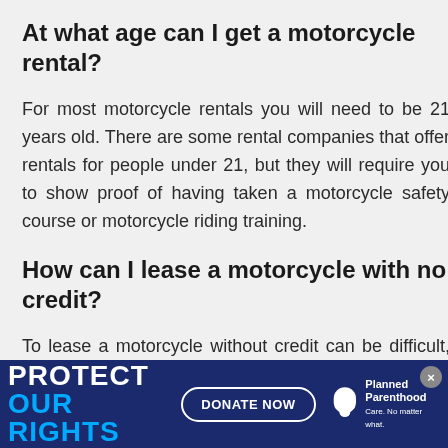At what age can I get a motorcycle rental?
For most motorcycle rentals you will need to be 21 years old. There are some rental companies that offer rentals for people under 21, but they will require you to show proof of having taken a motorcycle safety course or motorcycle riding training.
How can I lease a motorcycle with no credit?
To lease a motorcycle without credit can be difficult, but not impossible. First…
[Figure (other): Planned Parenthood advertisement banner: dark navy background with 'PROTECT YOUR RIGHTS' in white and blue text, a 'DONATE NOW' button, and the Planned Parenthood logo on the right. A close (×) button appears at the top right.]